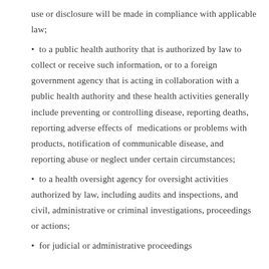use or disclosure will be made in compliance with applicable law;
to a public health authority that is authorized by law to collect or receive such information, or to a foreign government agency that is acting in collaboration with a public health authority and these health activities generally include preventing or controlling disease, reporting deaths, reporting adverse effects of medications or problems with products, notification of communicable disease, and reporting abuse or neglect under certain circumstances;
to a health oversight agency for oversight activities authorized by law, including audits and inspections, and civil, administrative or criminal investigations, proceedings or actions;
for judicial or administrative proceedings